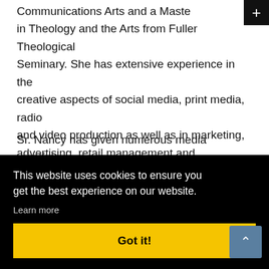Communications Arts and a Master in Theology and the Arts from Fuller Theological Seminary. She has extensive experience in the creative aspects of social media, print media, radio and video production as well as in marketing, advertising, retail management and administration.
Sr. Nancy has given numerous media mindfulness workshops, presentations and film retreats around the country and...
...IIS ...) and Dialogue) and board member of CIMA (Catholics in
This website uses cookies to ensure you get the best experience on our website. Learn more
Got it!